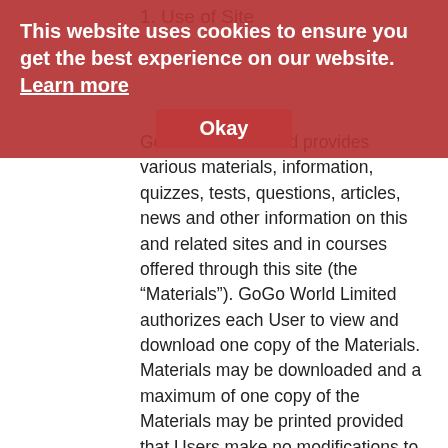1. Use of Site
This website uses cookies to ensure you get the best experience on our website. Learn more
Okay
GoGo World Limited provides various materials, information, quizzes, tests, questions, articles, news and other information on this and related sites and in courses offered through this site (the “Materials”). GoGo World Limited authorizes each User to view and download one copy of the Materials. Materials may be downloaded and a maximum of one copy of the Materials may be printed provided that Users make no modifications to the Materials and you retain all copyright and other proprietary notices contained in the original Materials on any copies of the Materials. Users may not modify the Materials at this Site in any way or reproduce, share or distribute them.